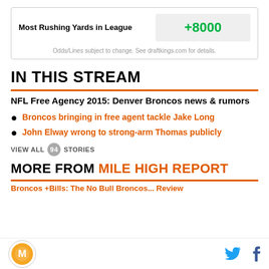| Most Rushing Yards in League |  |
| --- | --- |
| Most Rushing Yards in League | +8000 |
Odds/Lines subject to change. See draftkings.com for details.
IN THIS STREAM
NFL Free Agency 2015: Denver Broncos news & rumors
Broncos bringing in free agent tackle Jake Long
John Elway wrong to strong-arm Thomas publicly
VIEW ALL 94 STORIES
MORE FROM MILE HIGH REPORT
Broncos +Bills: The No Bull Broncos... Review
Mile High Report logo | Twitter | Facebook